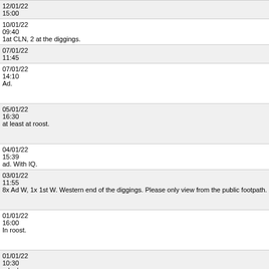| Date/Time | Species | Location | Count | Observer |
| --- | --- | --- | --- | --- |
| 12/01/22 15:00 | Common Gull | Lower Farm GP | 2 | B Lyle |
| 10/01/22 09:40 | 1at CLN, 2 at the diggings. | Common Gull | Moor Green Lakes | 3 | R F Milligan |
| 07/01/22 11:45 | Common Gull | Lea Farm Lake | 2 | R Marsh |
| 07/01/22 14:10 | Ad. | Common Gull | Blake's Lock, K&A Canal, Reading | 1 | R C Price |
| 05/01/22 16:30 | at least at roost. | Common Gull | Colebrook Lake, Moor Green Lakes | 2 | J M Clark |
| 04/01/22 15:39 | ad. With IQ. | Common Gull | Lower Farm GP | 1 | M J Dear |
| 03/01/22 11:55 | 8x Ad W, 1x 1st W. Western end of the diggings. Please only view from the public footpath. | Common Gull | New workings, Moor Green Lakes | 9 | R F Milligan |
| 01/01/22 16:00 | In roost. | Common Gull | Grove Lake, Moor Green Lakes | 4 | R J Godden |
| 01/01/22 10:30 | ad w/p. | Common Gull | Lower Farm GP | 1 | N Cleere |